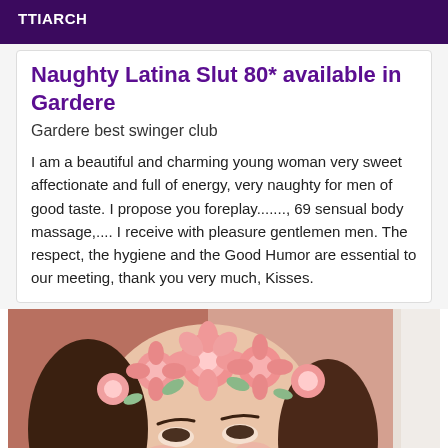TTIARCH
Naughty Latina Slut 80* available in Gardere
Gardere best swinger club
I am a beautiful and charming young woman very sweet affectionate and full of energy, very naughty for men of good taste. I propose you foreplay......., 69 sensual body massage,.... I receive with pleasure gentlemen men. The respect, the hygiene and the Good Humor are essential to our meeting, thank you very much, Kisses.
[Figure (photo): Close-up photo of a young woman's face with pink flower crown/headpiece, wearing makeup, with reddish background and a white frame or mirror edge on the right side]